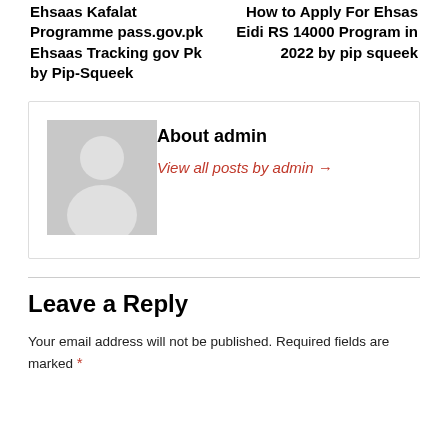Ehsaas Kafalat Programme pass.gov.pk Ehsaas Tracking gov Pk by Pip-Squeek
How to Apply For Ehsas Eidi RS 14000 Program in 2022 by pip squeek
[Figure (illustration): Generic user avatar placeholder — grey square with white silhouette of a person (circle head, rounded body)]
About admin
View all posts by admin →
Leave a Reply
Your email address will not be published. Required fields are marked *